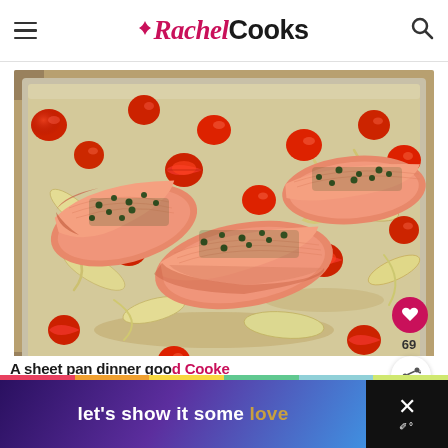RachelCooks
[Figure (photo): Overhead view of a sheet pan dinner with salmon fillets topped with capers, surrounded by roasted cherry tomatoes and sliced fennel on a baking sheet]
69
let's show it some love